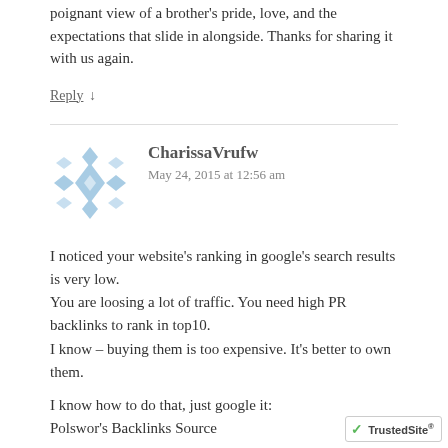poignant view of a brother's pride, love, and the expectations that slide in alongside. Thanks for sharing it with us again.
Reply ↓
CharissaVrufw
May 24, 2015 at 12:56 am
I noticed your website's ranking in google's search results is very low.
You are loosing a lot of traffic. You need high PR backlinks to rank in top10.
I know – buying them is too expensive. It's better to own them.

I know how to do that, just google it:
Polswor's Backlinks Source
[Figure (logo): TrustedSite badge with green checkmark]